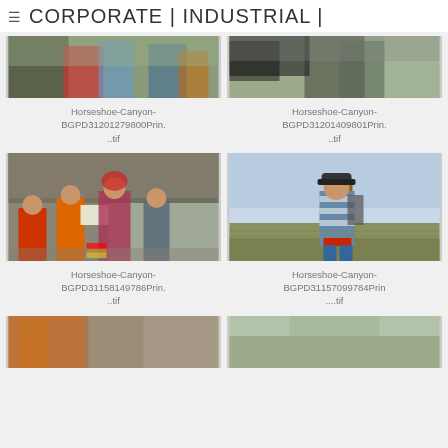CORPORATE | INDUSTRIAL |
[Figure (photo): Top partial photo of children outdoors - Horseshoe Canyon left image]
[Figure (photo): Top partial photo of children outdoors - Horseshoe Canyon right image]
Horseshoe-Canyon-BGPD31201279800Prin....tif
Horseshoe-Canyon-BGPD31201409801Prin....tif
[Figure (photo): Children and adult standing in front of rocky landscape, holding papers. Horseshoe Canyon.]
[Figure (photo): Boy with backpack and walking stick standing in a grassland. Horseshoe Canyon.]
Horseshoe-Canyon-BGPD31158149786Prin....tif
Horseshoe-Canyon-BGPD31157099784Prin....tif
[Figure (photo): Partial bottom image row left - Horseshoe Canyon]
[Figure (photo): Partial bottom image row right - Horseshoe Canyon]